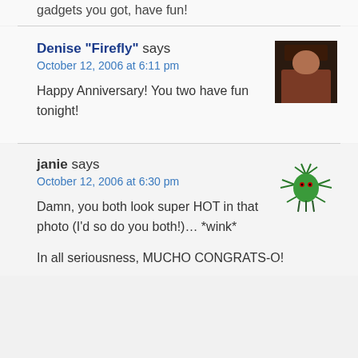gadgets you got, have fun!
Denise "Firefly" says
October 12, 2006 at 6:11 pm
Happy Anniversary! You two have fun tonight!
janie says
October 12, 2006 at 6:30 pm
Damn, you both look super HOT in that photo (I'd so do you both!)… *wink*

In all seriousness, MUCHO CONGRATS-O!